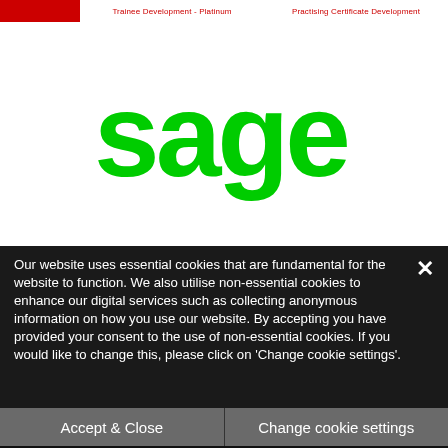Trainee Development - Platinum   Practising Certificate Development
[Figure (logo): Sage logo in green on white background]
Our website uses essential cookies that are fundamental for the website to function. We also utilise non-essential cookies to enhance our digital services such as collecting anonymous information on how you use our website. By accepting you have provided your consent to the use of non-essential cookies. If you would like to change this, please click on 'Change cookie settings'.
Accept & Close
Change cookie settings